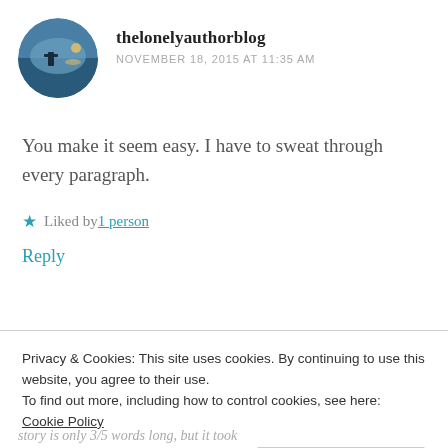[Figure (photo): Circular avatar photo of thelonelyauthorblog — person sitting in chair by water at sunset]
thelonelyauthorblog
NOVEMBER 18, 2015 AT 11:35 AM
You make it seem easy. I have to sweat through every paragraph.
★ Liked by 1 person
Reply
[Figure (photo): Circular avatar photo of Liza Fernandez — woman with dark hair]
Liza Fernandez
Privacy & Cookies: This site uses cookies. By continuing to use this website, you agree to their use.
To find out more, including how to control cookies, see here: Cookie Policy
Close and accept
story is only 3/5 words long, but it took